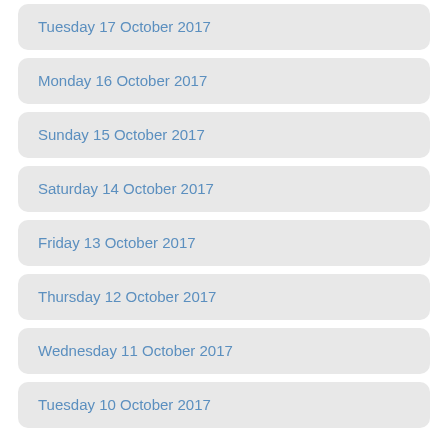Tuesday 17 October 2017
Monday 16 October 2017
Sunday 15 October 2017
Saturday 14 October 2017
Friday 13 October 2017
Thursday 12 October 2017
Wednesday 11 October 2017
Tuesday 10 October 2017